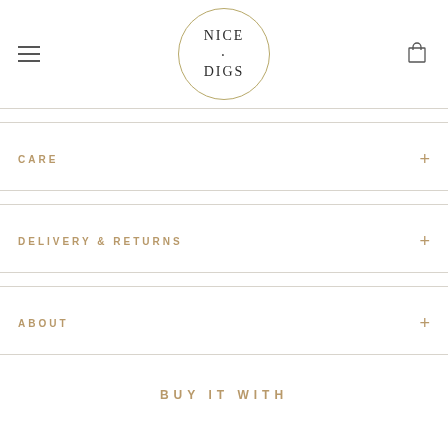[Figure (logo): Nice Digs logo — text inside a thin gold circle: NICE with a dot above DIGS, serif font, dark letters]
CARE
DELIVERY & RETURNS
ABOUT
BUY IT WITH